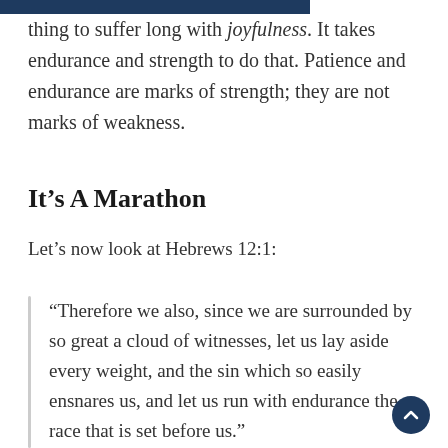thing to suffer long with joyfulness. It takes endurance and strength to do that. Patience and endurance are marks of strength; they are not marks of weakness.
It's A Marathon
Let's now look at Hebrews 12:1:
“Therefore we also, since we are surrounded by so great a cloud of witnesses, let us lay aside every weight, and the sin which so easily ensnares us, and let us run with endurance the race that is set before us.”